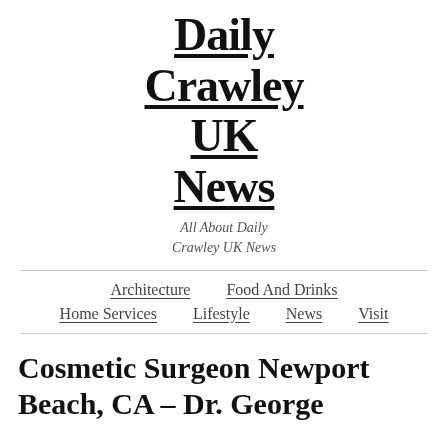Daily Crawley UK News
All About Daily Crawley UK News
Architecture | Food And Drinks | Home Services | Lifestyle | News | Visit
Cosmetic Surgeon Newport Beach, CA – Dr. George